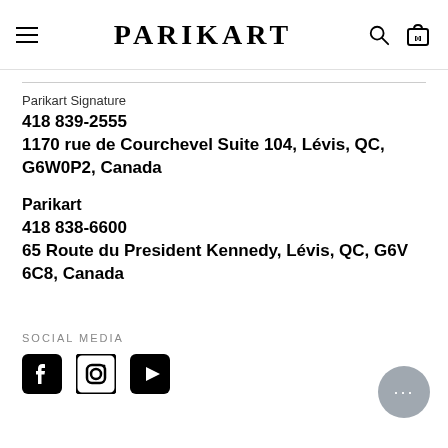PARIKART
Parikart Signature
418 839-2555
1170 rue de Courchevel Suite 104, Lévis, QC, G6W0P2, Canada
Parikart
418 838-6600
65 Route du President Kennedy, Lévis, QC, G6V 6C8, Canada
SOCIAL MEDIA
[Figure (illustration): Social media icons: Facebook, Instagram, YouTube]